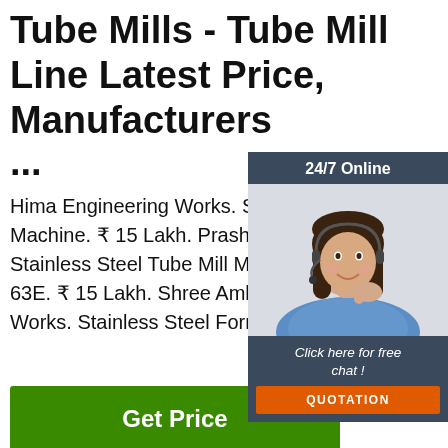Tube Mills - Tube Mill Line Latest Price, Manufacturers ...
Hima Engineering Works. SS Pipe Making Machine. ₹ 15 Lakh. Prashant Nishant In... Stainless Steel Tube Mill Machine, Model 63E. ₹ 15 Lakh. Shree Ambica Engineer Works. Stainless Steel Forming Roll. ₹ 5...
[Figure (other): Green Get Price button]
[Figure (photo): Chat widget with woman wearing headset, 24/7 Online header, Click here for free chat!, QUOTATION button]
[Figure (photo): Metal/steel surface photo at bottom left corner]
[Figure (logo): TOP logo with orange dots forming triangle shape]